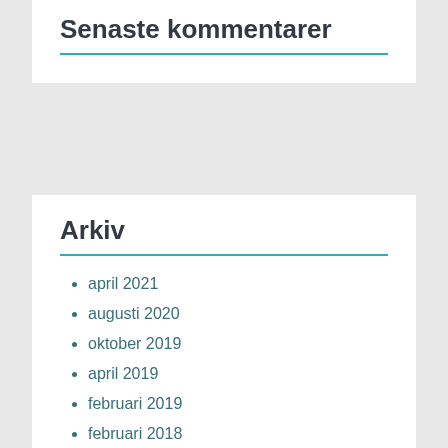Senaste kommentarer
Arkiv
april 2021
augusti 2020
oktober 2019
april 2019
februari 2019
februari 2018
mars 2015
februari 2015
juni 2014
december 2013
juli 2013